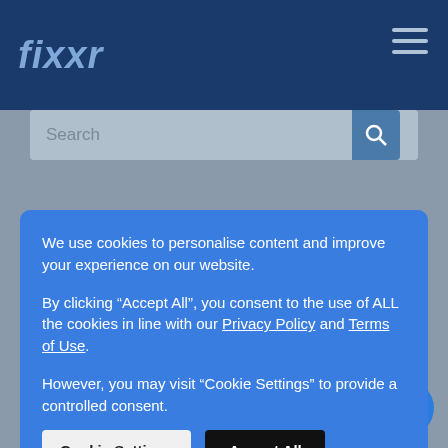fixxr
We use cookies to personalise content and improve your experience on our website.

By clicking “Accept All”, you consent to the use of ALL the cookies in line with our Privacy Policy and Terms of Use.

However, you may visit "Cookie Settings" to provide a controlled consent.
Cookie Settings | Accept All
Windscreen Washer Reservoir Replacement